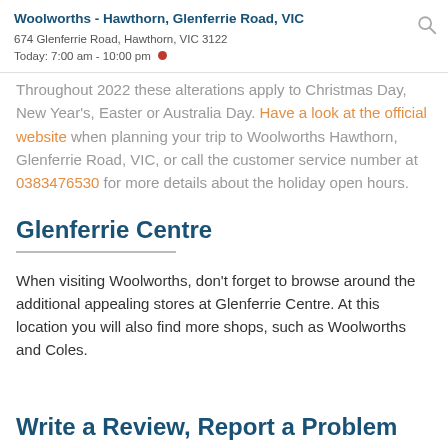Woolworths - Hawthorn, Glenferrie Road, VIC
674 Glenferrie Road, Hawthorn, VIC 3122
Today: 7:00 am - 10:00 pm
Throughout 2022 these alterations apply to Christmas Day, New Year's, Easter or Australia Day. Have a look at the official website when planning your trip to Woolworths Hawthorn, Glenferrie Road, VIC, or call the customer service number at 0383476530 for more details about the holiday open hours.
Glenferrie Centre
When visiting Woolworths, don't forget to browse around the additional appealing stores at Glenferrie Centre. At this location you will also find more shops, such as Woolworths and Coles.
Write a Review, Report a Problem